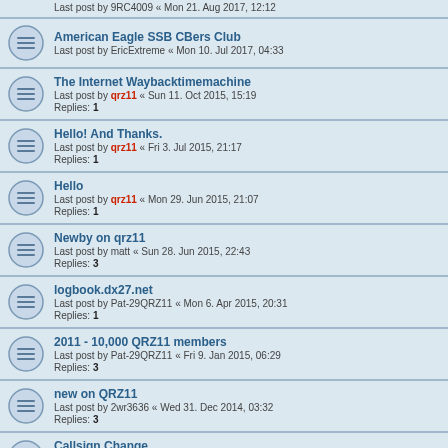Last post by 9RC4009 « Mon 21. Aug 2017, 12:12
American Eagle SSB CBers Club
Last post by EricExtreme « Mon 10. Jul 2017, 04:33
The Internet Waybacktimemachine
Last post by qrz11 « Sun 11. Oct 2015, 15:19
Replies: 1
Hello! And Thanks.
Last post by qrz11 « Fri 3. Jul 2015, 21:17
Replies: 1
Hello
Last post by qrz11 « Mon 29. Jun 2015, 21:07
Replies: 1
Newby on qrz11
Last post by matt « Sun 28. Jun 2015, 22:43
Replies: 3
logbook.dx27.net
Last post by Pat-29QRZ11 « Mon 6. Apr 2015, 20:31
Replies: 1
2011 - 10,000 QRZ11 members
Last post by Pat-29QRZ11 « Fri 9. Jan 2015, 06:29
Replies: 3
new on QRZ11
Last post by 2wr3636 « Wed 31. Dec 2014, 03:32
Replies: 3
Callsign Change
Last post by qrz11 « Sun 2. Nov 2014, 17:03
Replies: 2